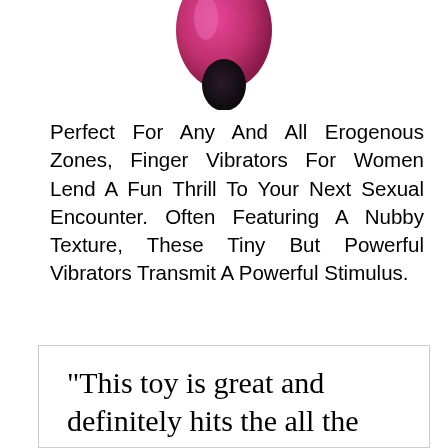[Figure (photo): Partial view of a pink/magenta finger vibrator product, showing the bottom portion against a white background]
Perfect For Any And All Erogenous Zones, Finger Vibrators For Women Lend A Fun Thrill To Your Next Sexual Encounter. Often Featuring A Nubby Texture, These Tiny But Powerful Vibrators Transmit A Powerful Stimulus.
“This toy is great and definitely hits the all the right